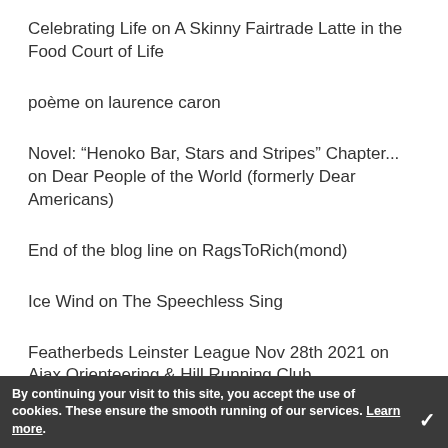Celebrating Life on A Skinny Fairtrade Latte in the Food Court of Life
poème on laurence caron
Novel: “Henoko Bar, Stars and Stripes” Chapter... on Dear People of the World (formerly Dear Americans)
End of the blog line on RagsToRich(mond)
Ice Wind on The Speechless Sing
Featherbeds Leinster League Nov 28th 2021 on Ajax Orienteering & Hill Running Club
Paging Ms Time, I have a question for you on
By continuing your visit to this site, you accept the use of cookies. These ensure the smooth running of our services. Learn more.